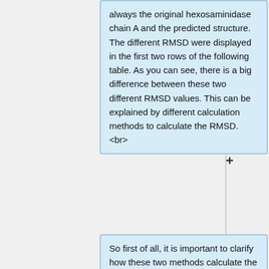always the original hexosaminidase chain A and the predicted structure. The different RMSD were displayed in the first two rows of the following table. As you can see, there is a big difference between these two different RMSD values. This can be explained by different calculation methods to calculate the RMSD. <br>
So first of all, it is important to clarify how these two methods calculate the RMSD. PyMol first does a sequence alignment